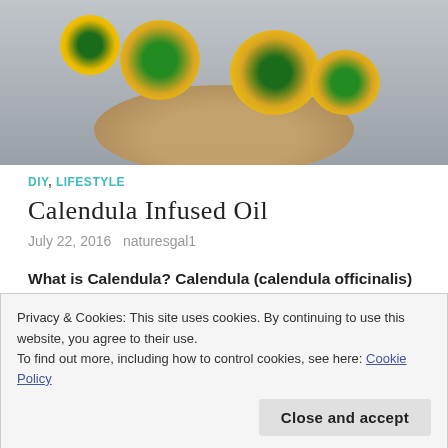[Figure (photo): Yellow calendula flowers in a wooden bowl on a gray background]
DIY, LIFESTYLE
Calendula Infused Oil
July 22, 2016   naturesgal1
What is Calendula? Calendula (calendula officinalis) is a plant originating from the Mediterranean region and is sometimes called pot marigold. However it is different from the marigolds found at plant
Privacy & Cookies: This site uses cookies. By continuing to use this website, you agree to their use.
To find out more, including how to control cookies, see here: Cookie Policy

Close and accept